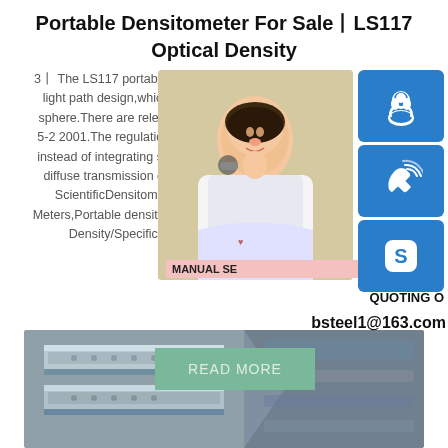Portable Densitometer For Sale丨LS117 Optical Density
3丨 The LS117 portable densitometer use light path design,which has the same e sphere.There are relevant instructions in 5-2 2001.The regulation has stated that " instead of integrating sphere method as t diffuse transmission density".sp.infoDe ScientificDensitometer found in Ea Meters,Portable density meter; 3x 1.5V AA Density/Specific Gravity Mete
[Figure (photo): Young Asian woman with headset, customer service representative, with blue icon buttons for customer service, phone, and Skype overlaid on the right side. Text overlays: MANUAL SE, QUOTING O, bsteel1@163.com]
READ MORE
[Figure (photo): Close-up of steel/metal structural components, appears to be metal channels or rails with perforated texture, grey industrial material]